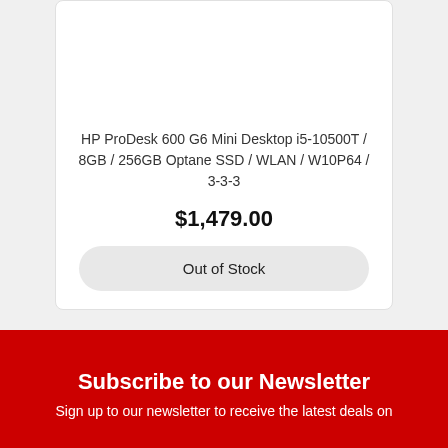HP ProDesk 600 G6 Mini Desktop i5-10500T / 8GB / 256GB Optane SSD / WLAN / W10P64 / 3-3-3
$1,479.00
Out of Stock
Subscribe to our Newsletter
Sign up to our newsletter to receive the latest deals on